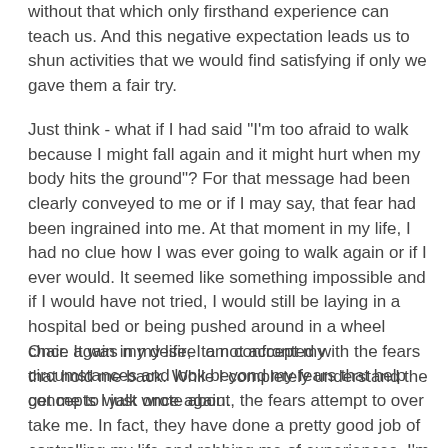without that which only firsthand experience can teach us. And this negative expectation leads us to shun activities that we would find satisfying if only we gave them a fair try.
Just think - what if I had said "I'm too afraid to walk because I might fall again and it might hurt when my body hits the ground"? For that message had been clearly conveyed to me or if I may say, that fear had been ingrained into me. At that moment in my life, I had no clue how I was ever going to walk again or if I ever would. It seemed like something impossible and if I would have not tried, I would still be laying in a hospital bed or being pushed around in a wheel chair. It was my desire to not accept my circumstances and look beyond my fears that help get me to walk once again.
Once again in my life, I am confronted with the fears that hold me back. While I completely understand the concepts I just wrote about, the fears attempt to over take me. In fact, they have done a pretty good job of controlling my life and robbing me of experiences. I'm not content with where my